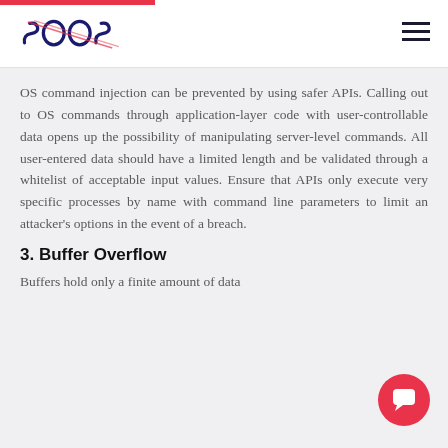SOOS logo and navigation
OS command injection can be prevented by using safer APIs. Calling out to OS commands through application-layer code with user-controllable data opens up the possibility of manipulating server-level commands. All user-entered data should have a limited length and be validated through a whitelist of acceptable input values. Ensure that APIs only execute very specific processes by name with command line parameters to limit an attacker's options in the event of a breach.
3. Buffer Overflow
Buffers hold only a finite amount of data